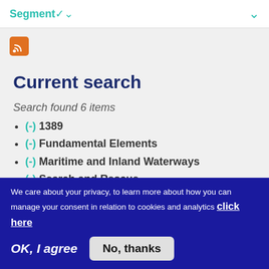Segment
[Figure (other): RSS feed icon - orange square with white RSS symbol]
Current search
Search found 6 items
(-) 1389
(-) Fundamental Elements
(-) Maritime and Inland Waterways
(-) Search and Rescue
We care about your privacy, to learn more about how you can manage your consent in relation to cookies and analytics click here
OK, I agree
No, thanks